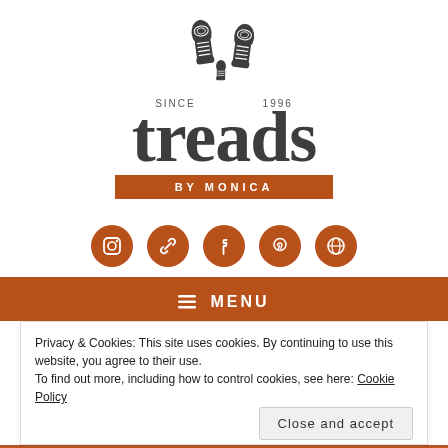[Figure (logo): Treads by Monica logo: two boot print silhouettes above the word 'treads' in large serif font, with 'SINCE 1996' between them, and 'BY MONICA' in an orange bar below]
[Figure (infographic): Row of 5 orange circular social media icons: Instagram, chain/links, Facebook, Pinterest, WordPress]
MENU
Privacy & Cookies: This site uses cookies. By continuing to use this website, you agree to their use.
To find out more, including how to control cookies, see here: Cookie Policy
Close and accept